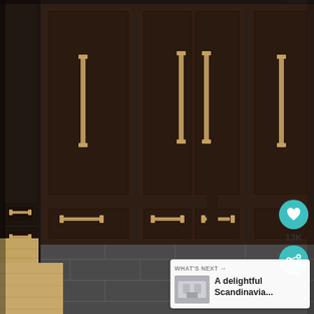[Figure (photo): Interior mudroom photo showing dark espresso-stained wood cabinetry with tall upper cabinets, drawer units below, gold/brass bar pull handles, slate gray tile floor in rectangular pattern, and light wood bench/stairs at lower left.]
13K
WHAT'S NEXT → A delightful Scandinavia...